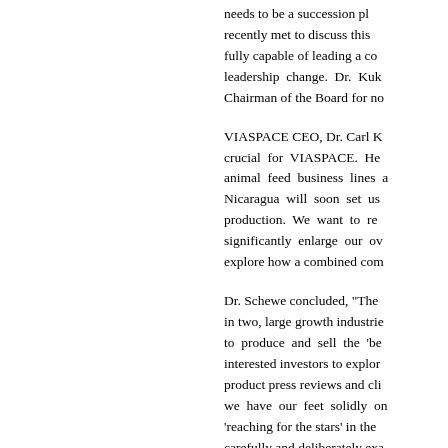needs to be a succession pl recently met to discuss this fully capable of leading a co leadership change. Dr. Kuk Chairman of the Board for no
VIASPACE CEO, Dr. Carl K crucial for VIASPACE. He animal feed business lines a Nicaragua will soon set us production. We want to re significantly enlarge our ov explore how a combined com
Dr. Schewe concluded, "The in two, large growth industrie to produce and sell the 'be interested investors to explor product press reviews and cli we have our feet solidly on 'reaching for the stars' in the carefully and deliberately exa with the overarching, singu shareholders in return."